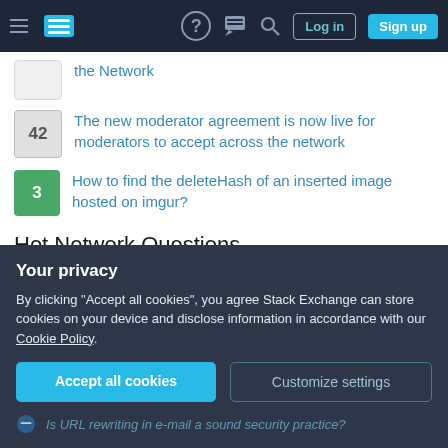Stack Exchange navigation bar with hamburger menu, logo, help, chat, search icons, Log in and Sign up buttons
the Network
42 — The new moderator agreement is now live for moderators to accept across the network
3 — How to find the deleteHash of an inserted image hosted on imgur?
Hot Network Questions
Relationships between like matching and comparison
Calculating the relationship between Vout and Vin in a non-inverting op-amp
Is possible to control "gasloft0" and exit of a loop before "out of gas"
Your privacy
By clicking "Accept all cookies", you agree Stack Exchange can store cookies on your device and disclose information in accordance with our Cookie Policy.
Accept all cookies | Customize settings
Is URL rewriting in e-mail a sound security practice?